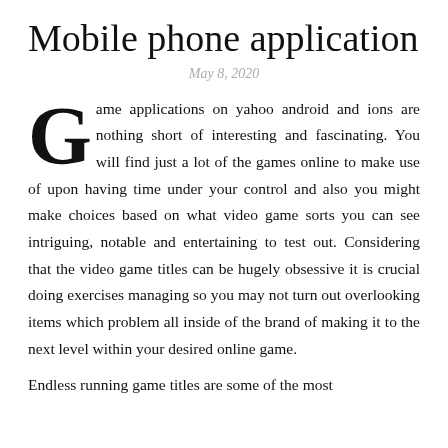Mobile phone application
May 8, 2020
Game applications on yahoo android and ions are nothing short of interesting and fascinating. You will find just a lot of the games online to make use of upon having time under your control and also you might make choices based on what video game sorts you can see intriguing, notable and entertaining to test out. Considering that the video game titles can be hugely obsessive it is crucial doing exercises managing so you may not turn out overlooking items which problem all inside of the brand of making it to the next level within your desired online game.
Endless running game titles are some of the most